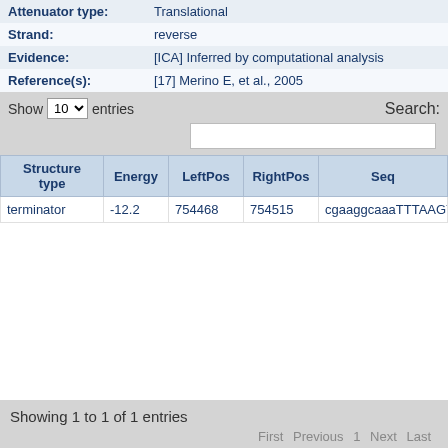| Field | Value |
| --- | --- |
| Attenuator type: | Translational |
| Strand: | reverse |
| Evidence: | [ICA] Inferred by computational analysis |
| Reference(s): | [17] Merino E, et al., 2005 |
Show 10 entries  Search:
| Structure type | Energy | LeftPos | RightPos | Seq |
| --- | --- | --- | --- | --- |
| terminator | -12.2 | 754468 | 754515 | cgaaggcaaaTTTAAGTTCCGGCAGTCT |
Showing 1 to 1 of 1 entries
First  Previous  1  Next  Last